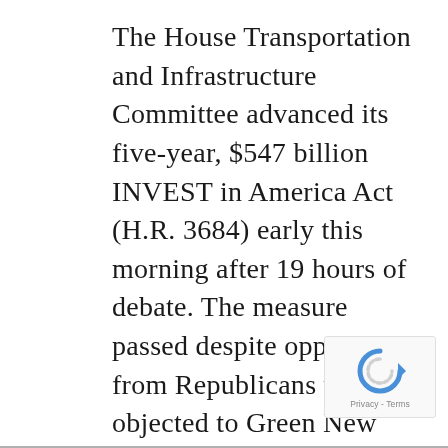The House Transportation and Infrastructure Committee advanced its five-year, $547 billion INVEST in America Act (H.R. 3684) early this morning after 19 hours of debate. The measure passed despite opposition from Republicans who objected to Green New Deal Initiatives and a lack of bipartisan input. The committee voted 38 to 26 to advance H.R. 3684 after considering nearly 200 amendments and adopting a Manager's packet of amendments. More
[Figure (other): reCAPTCHA widget with rotating arrow icon and 'Privacy - Terms' footer text]